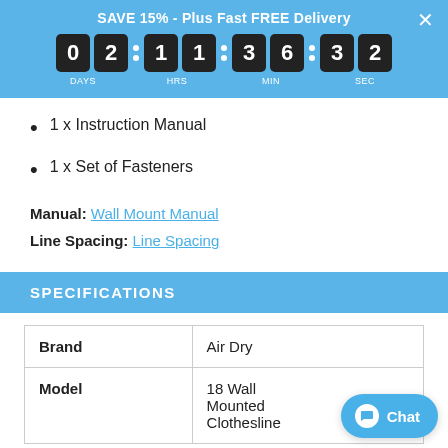SAVE 15% - Plus Fast FREE Delivery | Countdown: 02 days 11 hrs 36 min 32 sec
1 x Instruction Manual
1 x Set of Fasteners
Manual: Wall Mount Manual
Line Spacing: Line Spacing
SPECIFICATIONS
|  |  |
| --- | --- |
| Brand | Air Dry |
| Model | 18 Wall Mounted Clothesline |